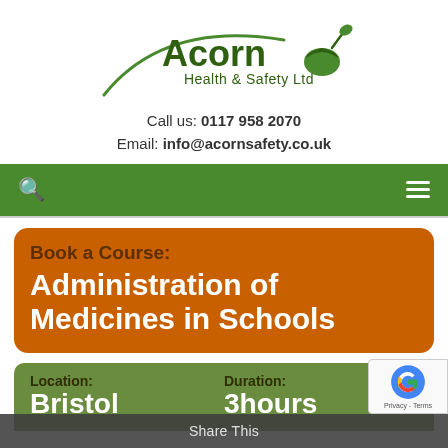[Figure (logo): Acorn Health & Safety Ltd logo with green arc and acorn icon]
Call us: 0117 958 2070
Email: info@acornsafety.co.uk
[Figure (other): Green navigation bar with search icon and hamburger menu]
Book a Course: Administration of Medicines in Schools
Location: Bristol
Duration: 3hours
Share This